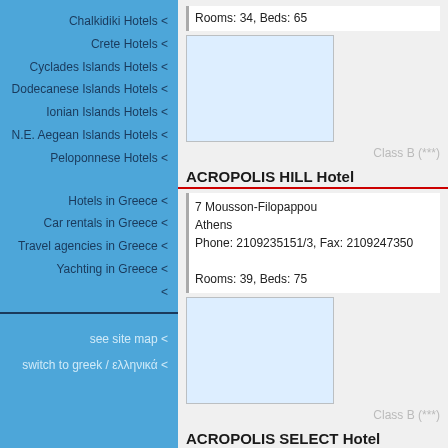Chalkidiki Hotels <
Crete Hotels <
Cyclades Islands Hotels <
Dodecanese Islands Hotels <
Ionian Islands Hotels <
N.E. Aegean Islands Hotels <
Peloponnese Hotels <
Hotels in Greece <
Car rentals in Greece <
Travel agencies in Greece <
Yachting in Greece <
<
see site map <
switch to greek / ελληνικά <
Rooms: 34, Beds: 65
[Figure (photo): Hotel photo placeholder - light blue box]
Class B (***)
ACROPOLIS HILL Hotel
7 Mousson-Filopappou
Athens
Phone: 2109235151/3, Fax: 2109247350
Rooms: 39, Beds: 75
[Figure (photo): Hotel photo placeholder - light blue box]
Class B (***)
ACROPOLIS SELECT Hotel
37, Falirou
Koukaki, Athens
Phone: 2109211611, Fax: 2109216938